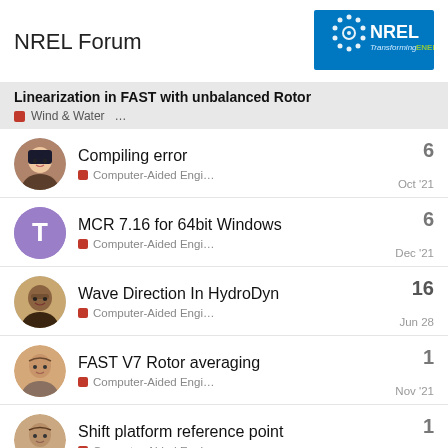NREL Forum
[Figure (logo): NREL logo — blue background with circular dotted gear icon and text 'NREL Transforming ENERGY']
Linearization in FAST with unbalanced Rotor
Wind & Water  …
Compiling error | Computer-Aided Engi… | 6 | Oct '21
MCR 7.16 for 64bit Windows | Computer-Aided Engi… | 6 | Dec '21
Wave Direction In HydroDyn | Computer-Aided Engi… | 16 | Jun 28
FAST V7 Rotor averaging | Computer-Aided Engi… | 1 | Nov '21
Shift platform reference point | Computer-Aided Engi… | 1 | Jan 17